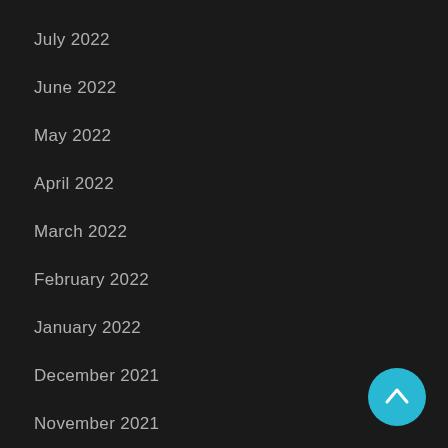July 2022
June 2022
May 2022
April 2022
March 2022
February 2022
January 2022
December 2021
November 2021
[Figure (other): Cyan circular scroll-to-top button with upward chevron arrow]